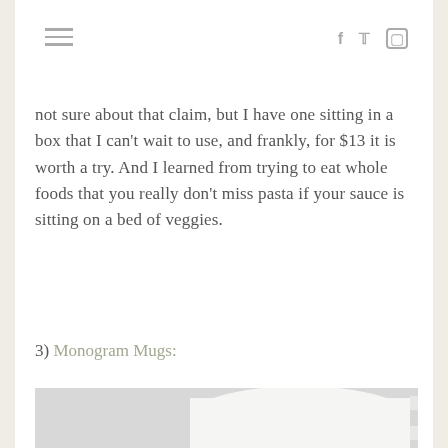≡  f  🐦  ▢
not sure about that claim, but I have one sitting in a box that I can't wait to use, and frankly, for $13 it is worth a try. And I learned from trying to eat whole foods that you really don't miss pasta if your sauce is sitting on a bed of veggies.
3) Monogram Mugs:
[Figure (photo): A white ceramic monogram mug with a decorative letter B printed on it, photographed against a light gray background.]